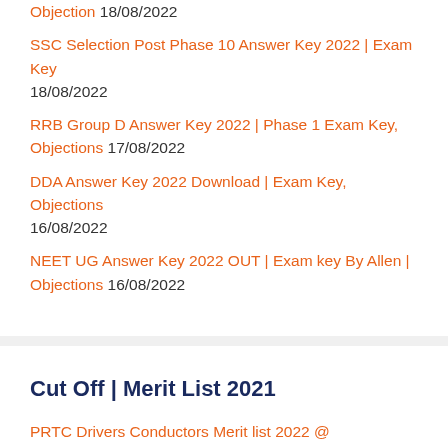Objection 18/08/2022
SSC Selection Post Phase 10 Answer Key 2022 | Exam Key 18/08/2022
RRB Group D Answer Key 2022 | Phase 1 Exam Key, Objections 17/08/2022
DDA Answer Key 2022 Download | Exam Key, Objections 16/08/2022
NEET UG Answer Key 2022 OUT | Exam key By Allen | Objections 16/08/2022
Cut Off | Merit List 2021
PRTC Drivers Conductors Merit list 2022 @